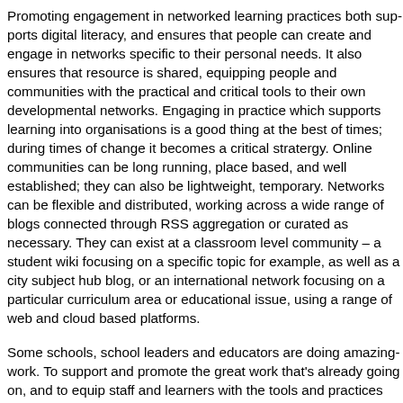Promoting engagement in networked learning practices both supports digital literacy, and ensures that people can create and engage in networks specific to their personal needs. It also ensures that resource is shared, equipping people and communities with the practical and critical tools to their own developmental networks. Engaging in practice which supports learning into organisations is a good thing at the best of times; during times of change it becomes a critical stratergy. Online communities can be long running, place based, and well established; they can also be lightweight, temporary. Networks can be flexible and distributed, working across a wide range of blogs connected through RSS aggregation or curated as necessary. They can exist at a classroom level community – a student wiki focusing on a specific topic for example, as well as a city subject hub blog, or an international network focusing on a particular curriculum area or educational issue, using a range of web and cloud based platforms.
Some schools, school leaders and educators are doing amazing work. To support and promote the great work that's already going on, and to equip staff and learners with the tools and practices and confidence that will make them even better. Using online collaborative tool and environments is now a mainstream personal activity. Supporting or learners and staff to